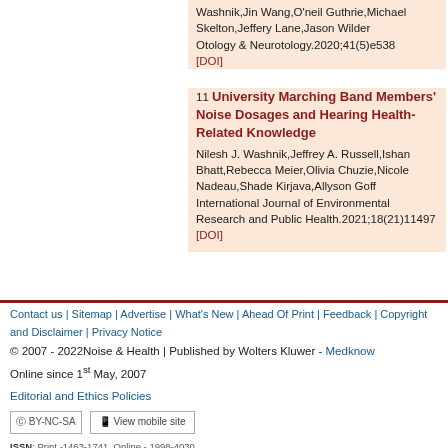Washnik,Jin Wang,O'neil Guthrie,Michael Skelton,Jeffery Lane,Jason Wilder
Otology & Neurotology.2020;41(5)e538
[DOI]
11. University Marching Band Members' Noise Dosages and Hearing Health-Related Knowledge
Nilesh J. Washnik,Jeffrey A. Russell,Ishan Bhatt,Rebecca Meier,Olivia Chuzie,Nicole Nadeau,Shade Kirjava,Allyson Goff
International Journal of Environmental Research and Public Health.2021;18(21)11497
[DOI]
Contact us | Sitemap | Advertise | What's New | Ahead Of Print | Feedback | Copyright and Disclaimer | Privacy Notice
© 2007 - 2022Noise & Health | Published by Wolters Kluwer - Medknow
Online since 1st May, 2007
Editorial and Ethics Policies
ISSN: Print -1463-1741, Online - 1998-4030